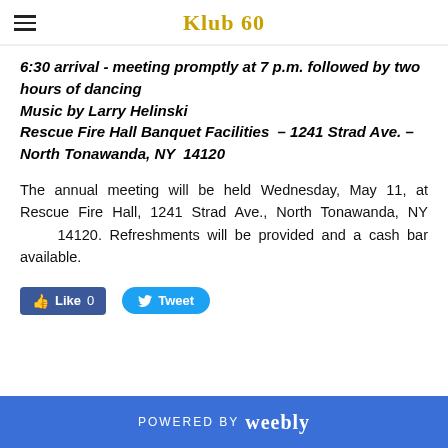Klub 60
6:30 arrival - meeting promptly at 7 p.m. followed by two hours of dancing
Music by Larry Helinski
Rescue Fire Hall Banquet Facilities – 1241 Strad Ave. – North Tonawanda, NY 14120
The annual meeting will be held Wednesday, May 11, at Rescue Fire Hall, 1241 Strad Ave., North Tonawanda, NY 14120. Refreshments will be provided and a cash bar available.
[Figure (other): Facebook Like button (Like 0) and Twitter Tweet button]
POWERED BY weebly